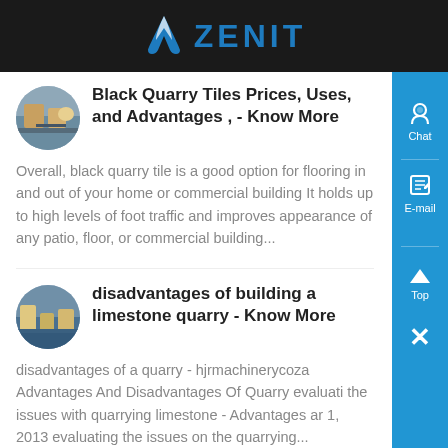ZENIT
Black Quarry Tiles Prices, Uses, and Advantages , - Know More
Overall, black quarry tile is a good option for flooring in and out of your home or commercial building It holds up to high levels of foot traffic and improves appearance of any patio, floor, or commercial building...
disadvantages of building a limestone quarry - Know More
disadvantages of a quarry - hjrmachinerycoza Advantages And Disadvantages Of Quarry evaluati the issues with quarrying limestone - Advantages ar 1, 2013 evaluating the issues on the quarrying...